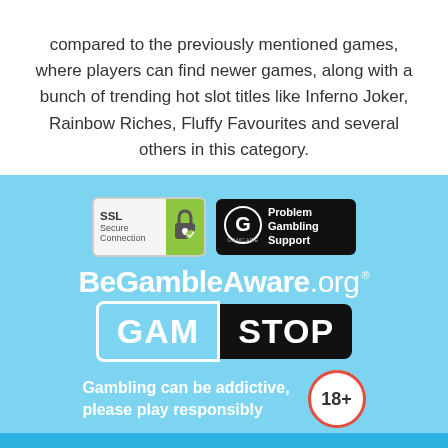compared to the previously mentioned games, where players can find newer games, along with a bunch of trending hot slot titles like Inferno Joker, Rainbow Riches, Fluffy Favourites and several others in this category.
[Figure (logo): SSL Secure Connection badge and GamCare Problem Gambling Support badge]
[Figure (logo): BeGambleAware.org logo with registered mark]
[Figure (logo): GamStop logo with GAM in blue rounded box and STOP in black rounded box]
Gambling can be addictive, please play responsibly
[Figure (logo): 18+ age restriction badge, red circle on white background]